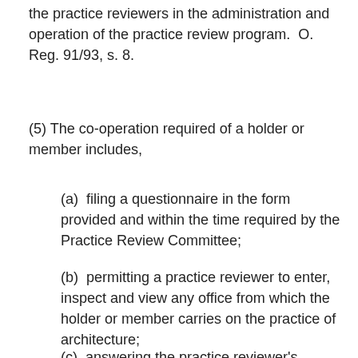the practice reviewers in the administration and operation of the practice review program.  O. Reg. 91/93, s. 8.
(5) The co-operation required of a holder or member includes,
(a)  filing a questionnaire in the form provided and within the time required by the Practice Review Committee;
(b)  permitting a practice reviewer to enter, inspect and view any office from which the holder or member carries on the practice of architecture;
(c)  answering the practice reviewer's